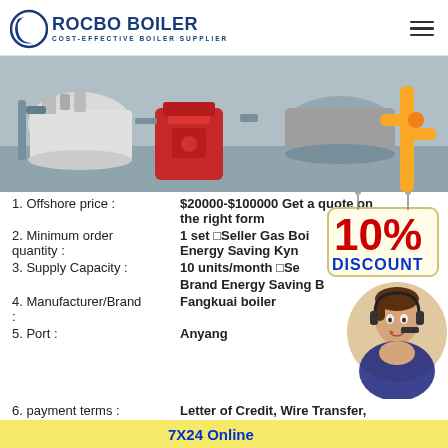[Figure (logo): Rocbo Boiler logo with blue crescent and text 'COST-EFFECTIVE BOILER SUPPLIER']
[Figure (photo): Industrial boiler room with red burner unit, piping, and yellow gas pipes]
1. Offshore price : $20000-$100000 Get a quote on the right form
2. Minimum order quantity : 1 set Seller Gas Boiler Energy Saving Kyn...
3. Supply Capacity : 10 units/month Seller Brand Energy Saving...
4. Manufacturer/Brand: Fangkuai boiler
5. Port : Anyang
6. payment terms : Letter of Credit, Wire Transfer,
[Figure (infographic): 10% DISCOUNT badge sign hanging]
[Figure (photo): Customer service agent woman with headset]
7X24 Online